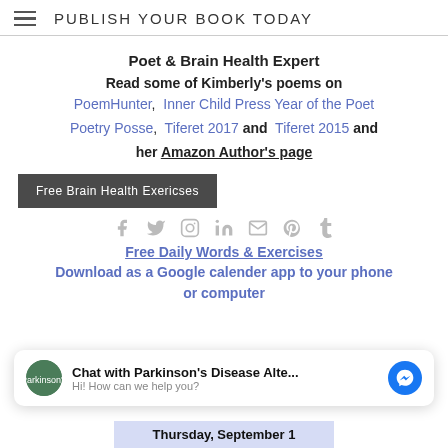PUBLISH YOUR BOOK TODAY
Poet & Brain Health Expert
Read some of Kimberly's poems on PoemHunter, Inner Child Press Year of the Poet Poetry Posse, Tiferet 2017 and Tiferet 2015 and her Amazon Author's page
Free Brain Health Exericses
[Figure (infographic): Social media icons: Facebook, Twitter, Instagram, LinkedIn, Email, Pinterest, Tumblr in gray]
Free Daily Words & Exercises
Download as a Google calender app to your phone or computer
Chat with Parkinson's Disease Alte... Hi! How can we help you?
Thursday, September 1